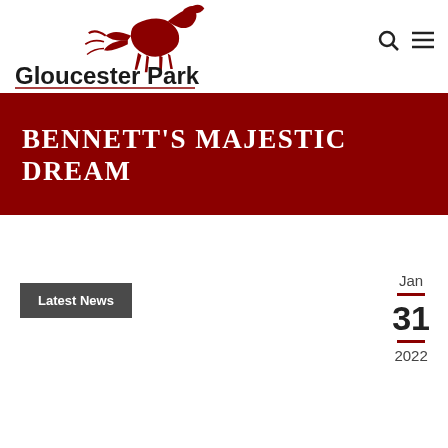[Figure (logo): Gloucester Park logo with running horse in dark red/maroon and bold black text reading 'Gloucester Park']
BENNETT'S MAJESTIC DREAM
Latest News
Jan 31 2022